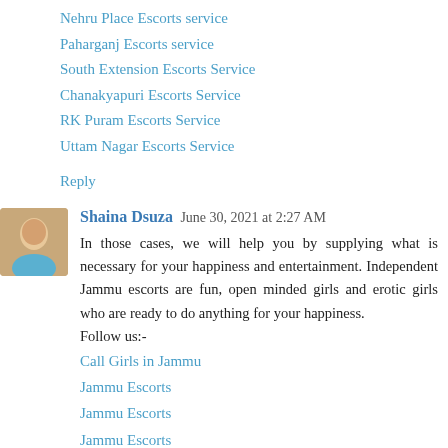Nehru Place Escorts service
Paharganj Escorts service
South Extension Escorts Service
Chanakyapuri Escorts Service
RK Puram Escorts Service
Uttam Nagar Escorts Service
Reply
Shaina Dsuza  June 30, 2021 at 2:27 AM
In those cases, we will help you by supplying what is necessary for your happiness and entertainment. Independent Jammu escorts are fun, open minded girls and erotic girls who are ready to do anything for your happiness.
Follow us:-
Call Girls in Jammu
Jammu Escorts
Jammu Escorts
Jammu Escorts
Escorts in Jammu